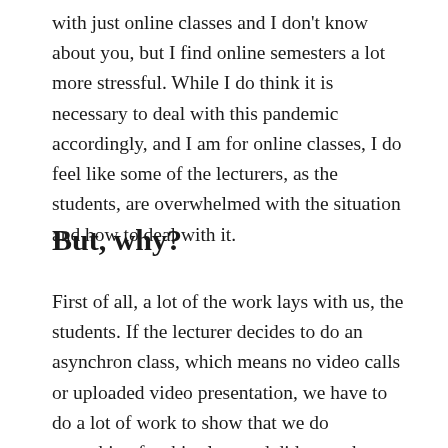with just online classes and I don't know about you, but I find online semesters a lot more stressful. While I do think it is necessary to deal with this pandemic accordingly, and I am for online classes, I do feel like some of the lecturers, as the students, are overwhelmed with the situation and how to deal with it.
But, why?
First of all, a lot of the work lays with us, the students. If the lecturer decides to do an asynchron class, which means no video calls or uploaded video presentation, we have to do a lot of work to show that we do something for this class and did enough to gain the credit points. But even if the class is synchron,